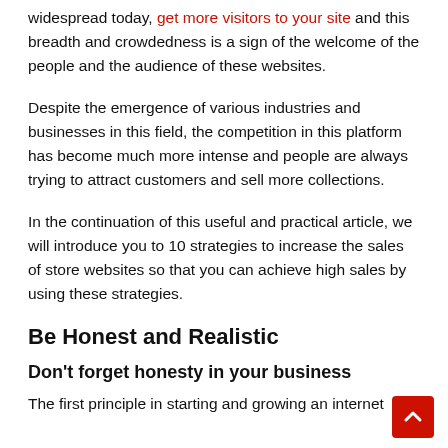widespread today, get more visitors to your site and this breadth and crowdedness is a sign of the welcome of the people and the audience of these websites.
Despite the emergence of various industries and businesses in this field, the competition in this platform has become much more intense and people are always trying to attract customers and sell more collections.
In the continuation of this useful and practical article, we will introduce you to 10 strategies to increase the sales of store websites so that you can achieve high sales by using these strategies.
Be Honest and Realistic
Don't forget honesty in your business
The first principle in starting and growing an internet